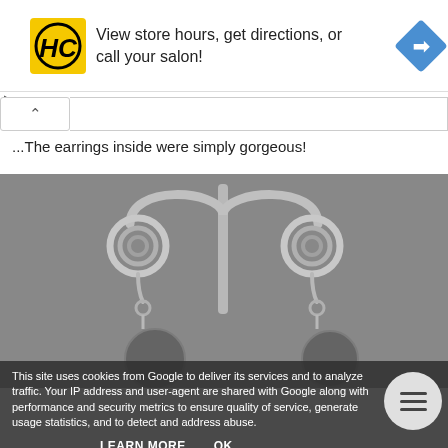[Figure (screenshot): Ad banner with HC (Hair Club) logo, text 'View store hours, get directions, or call your salon!', and a blue navigation/directions diamond icon on the right.]
The earrings inside were simply gorgeous!
[Figure (photo): Photo of two spiral/coil wire earrings displayed on a silver earring stand against a grey background. The earrings feature decorative circular coiled tops with small dangles below.]
This site uses cookies from Google to deliver its services and to analyze traffic. Your IP address and user-agent are shared with Google along with performance and security metrics to ensure quality of service, generate usage statistics, and to detect and address abuse.
LEARN MORE   OK